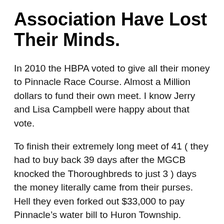Association Have Lost Their Minds.
In 2010 the HBPA voted to give all their money to Pinnacle Race Course. Almost a Million dollars to fund their own meet. I know Jerry and Lisa Campbell were happy about that vote.
To finish their extremely long meet of 41 ( they had to buy back 39 days after the MGCB knocked the Thoroughbreds to just 3 ) days the money literally came from their purses. Hell they even forked out $33,000 to pay Pinnacle’s water bill to Huron Township.
Then they questioned the legalities of it all.
Well now in 2011 after Jerry Campbell not willing to tell